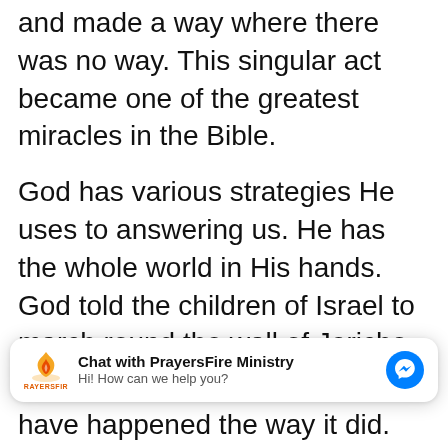and made a way where there was no way. This singular act became one of the greatest miracles in the Bible.
God has various strategies He uses to answering us. He has the whole world in His hands. God told the children of Israel to march round the wall of Jericho seven times. This they did and the wall...
[Figure (screenshot): Chat widget overlay: PrayersFire Ministry logo with flame icon and label 'RAYERSFIR', text 'Chat with PrayersFire Ministry' in bold, subtext 'Hi! How can we help you?', and a blue Facebook Messenger icon on the right.]
have happened the way it did.